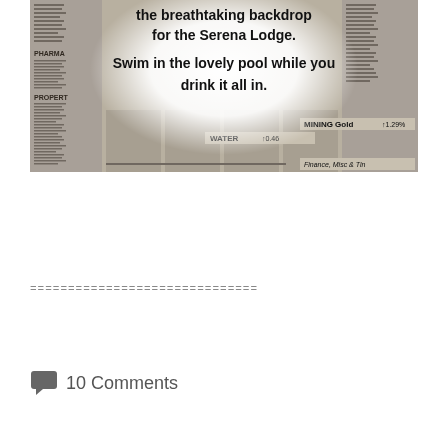[Figure (photo): A newspaper stock market listings page partially overlaid with a white glowing center containing bold black text: 'the breathtaking backdrop for the Serena Lodge. Swim in the lovely pool while you drink it all in.' Visible sections include PHARMA, PROPERTY, WATER 0.46, MINING Gold 1.29%, Finance, Misc & Tin.]
==============================
10 Comments